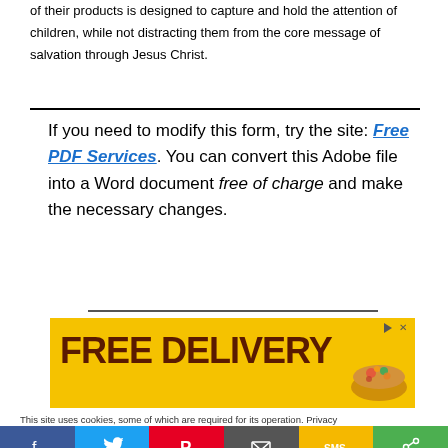of their products is designed to capture and hold the attention of children, while not distracting them from the core message of salvation through Jesus Christ.
If you need to modify this form, try the site: Free PDF Services. You can convert this Adobe file into a Word document free of charge and make the necessary changes.
[Figure (photo): Advertisement banner with yellow background showing 'FREE DELIVERY' text in dark brown with a bowl of food image on the right, and an ad indicator icon top right.]
This site uses cookies, some of which are required for its operation. Privacy
[Figure (infographic): Social sharing bar with six colored buttons: Facebook (blue, f icon), Twitter (light blue, bird icon), Pinterest (red, P icon), Email (grey, envelope icon), SMS (yellow, SMS icon), Share (green, share icon).]